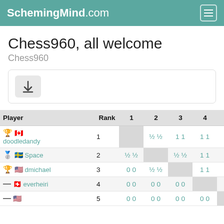SchemingMind.com
Chess960, all welcome
Chess960
[Figure (other): Download button with arrow icon]
| Player | Rank | 1 | 2 | 3 | 4 | 5 |
| --- | --- | --- | --- | --- | --- | --- |
| 🏆 🇨🇦 doodledandy | 1 |  | ½ ½ | 1 1 | 1 1 | 1 1 |
| 🥈 🇸🇪 Space | 2 | ½ ½ |  | ½ ½ | 1 1 | 1 1 |
| 🥉 🇺🇸 dmichael | 3 | 0 0 | ½ ½ |  | 1 1 | 1 1 |
| — 🇨🇭 everheiri | 4 | 0 0 | 0 0 | 0 0 |  | 1 1 |
| — 🇺🇸 ... | 5 | 0 0 | 0 0 | 0 0 | 0 0 |  |